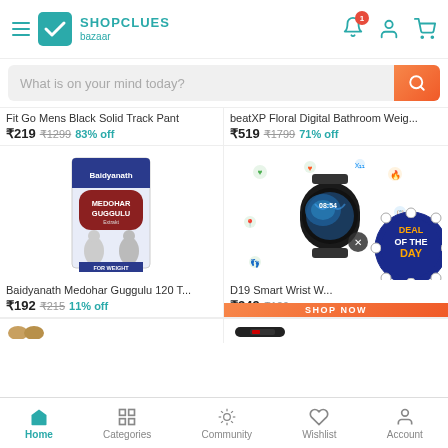[Figure (screenshot): ShopClues Bazaar app header with hamburger menu, logo, notification bell with badge (1), user icon, and cart icon]
What is on your mind today?
Fit Go Mens Black Solid Track Pant ₹219 ₹1299 83% off
beatXP Floral Digital Bathroom Weig... ₹519 ₹1799 71% off
[Figure (photo): Baidyanath Medohar Guggulu box product image]
[Figure (photo): D19 Smart Wrist Watch product image with Deal of the Day badge]
Baidyanath Medohar Guggulu 120 T... ₹192 ₹215 11% off
D19 Smart Wrist W... ₹349 ₹129...
Home   Categories   Community   Wishlist   Account